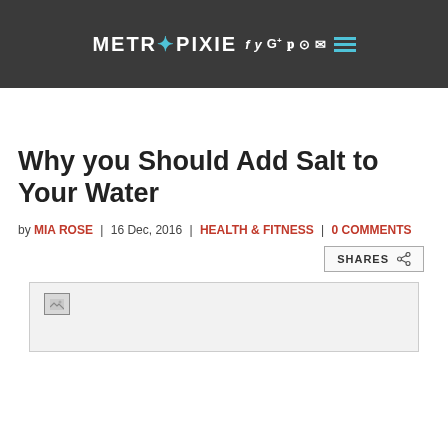METROPIXIE [social icons: f y G+ p o mail]
Why you Should Add Salt to Your Water
by MIA ROSE | 16 Dec, 2016 | HEALTH & FITNESS | 0 COMMENTS
SHARES
[Figure (photo): Placeholder image area with broken image icon]